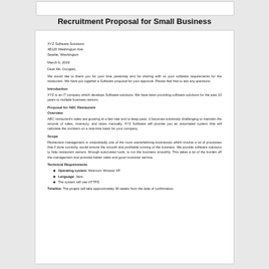Recruitment Proposal for Small Business
XYZ Software Solutions
48120 Washington Ave.
Seattle, Washington
March 6, 2019
Dear Ms. Douglas,
We would like to thank you for your time yesterday and for sharing with us your software requirements for the restaurant. We have put together a Software proposal for your approval. Please feel free to ask any questions.
Introduction
XYZ is an IT company which develops Software solutions. We have been providing software solutions for the past 10 years to multiple business sectors.
Proposal for ABC Restaurant
Overview
ABC restaurant's sales are growing at a fast rate and to keep pace, it becomes extremely challenging to maintain the records of sales, inventory, and taxes manually. XYZ Software will provide you an automated system that will calculate the numbers on a real-time basis for your company.
Scope
Restaurant management is undoubtedly one of the most overwhelming businesses which involve a lot of processes that if done correctly, would ensure the smooth and profitable running of the business. We provide software solutions to help restaurant owners, through automated tools, to run the business smoothly. This takes a lot of the burden off the management and provides better sales and good customer service.
Technical Requirements
Operating system: Minimum Window XP
Language: Java
The system will use HTTPS
Timeline: The project will take approximately 30 weeks from the date of confirmation.